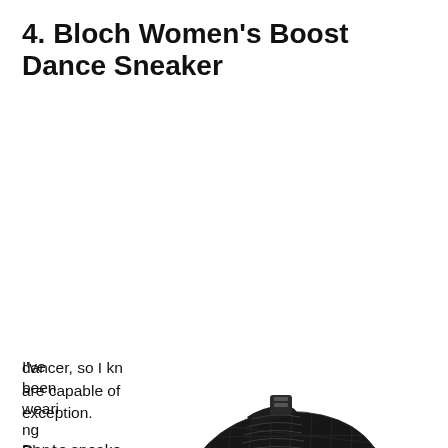4. Bloch Women's Boost Dance Sneaker
I've been wearing Bloch shoes for years as a dancer, so I know firsthand the kind of quality shoes they are capable of making. These best dance sneakers are no exception.
[Figure (photo): Black Bloch Women's Boost Dance Sneaker athletic shoe photographed on white background, showing the right shoe from a three-quarter front angle. All-black mesh upper with laces and chunky rubber sole.]
Dance sneakers are more flexible and allow